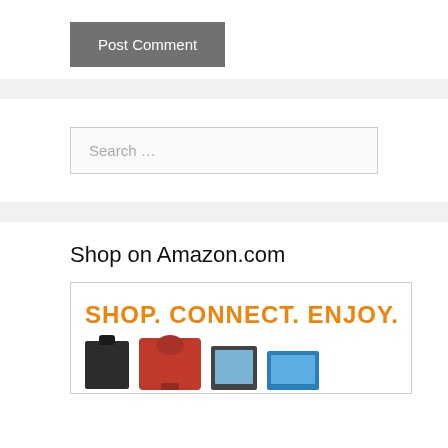Post Comment
Search ...
Shop on Amazon.com
[Figure (illustration): Amazon.com advertisement banner showing 'SHOP. CONNECT. ENJOY.' text in orange with product images below including a black bag, red KitchenAid mixer, Kindle device, and a blue product.]